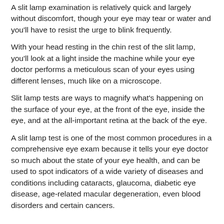A slit lamp examination is relatively quick and largely without discomfort, though your eye may tear or water and you'll have to resist the urge to blink frequently.
With your head resting in the chin rest of the slit lamp, you'll look at a light inside the machine while your eye doctor performs a meticulous scan of your eyes using different lenses, much like on a microscope.
Slit lamp tests are ways to magnify what's happening on the surface of your eye, at the front of the eye, inside the eye, and at the all-important retina at the back of the eye.
A slit lamp test is one of the most common procedures in a comprehensive eye exam because it tells your eye doctor so much about the state of your eye health, and can be used to spot indicators of a wide variety of diseases and conditions including cataracts, glaucoma, diabetic eye disease, age-related macular degeneration, even blood disorders and certain cancers.